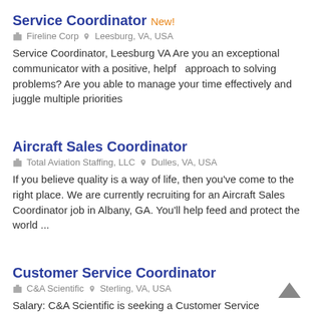Service Coordinator New!
🏢 Fireline Corp  📍 Leesburg, VA, USA
Service Coordinator, Leesburg VA Are you an exceptional communicator with a positive, helpful approach to solving problems? Are you able to manage your time effectively and juggle multiple priorities
Aircraft Sales Coordinator
🏢 Total Aviation Staffing, LLC  📍 Dulles, VA, USA
If you believe quality is a way of life, then you've come to the right place. We are currently recruiting for an Aircraft Sales Coordinator job in Albany, GA. You'll help feed and protect the world ...
Customer Service Coordinator
🏢 C&A Scientific  📍 Sterling, VA, USA
Salary: C&A Scientific is seeking a Customer Service Coordinator to our team! The Customer Service Coordinator will serve as a central